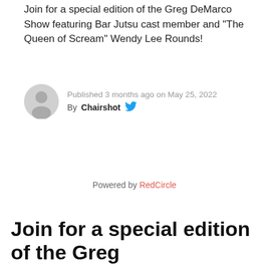Join for a special edition of the Greg DeMarco Show featuring Bar Jutsu cast member and "The Queen of Scream" Wendy Lee Rounds!
Published 3 months ago on May 25, 2022
By Chairshot
Powered by RedCircle
Join for a special edition of the Greg